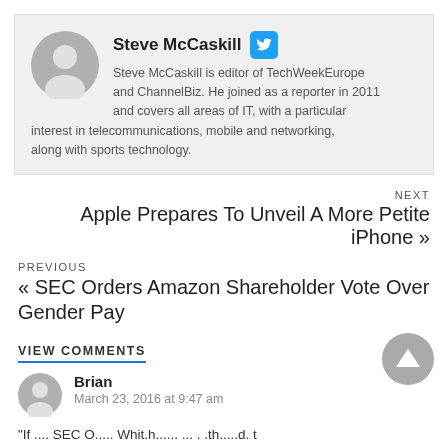Steve McCaskill — Steve McCaskill is editor of TechWeekEurope and ChannelBiz. He joined as a reporter in 2011 and covers all areas of IT, with a particular interest in telecommunications, mobile and networking, along with sports technology.
NEXT
Apple Prepares To Unveil A More Petite iPhone »
PREVIOUS
« SEC Orders Amazon Shareholder Vote Over Gender Pay
VIEW COMMENTS
Brian
March 23, 2016 at 9:47 am